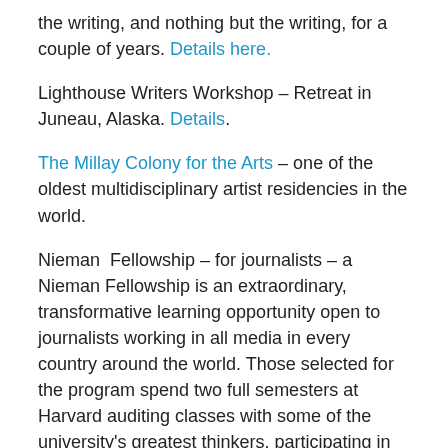the writing, and nothing but the writing, for a couple of years. Details here.
Lighthouse Writers Workshop – Retreat in Juneau, Alaska. Details.
The Millay Colony for the Arts – one of the oldest multidisciplinary artist residencies in the world.
Nieman Fellowship – for journalists – a Nieman Fellowship is an extraordinary, transformative learning opportunity open to journalists working in all media in every country around the world. Those selected for the program spend two full semesters at Harvard auditing classes with some of the university's greatest thinkers, participating in Nieman events and collaborating with peers. Read more.